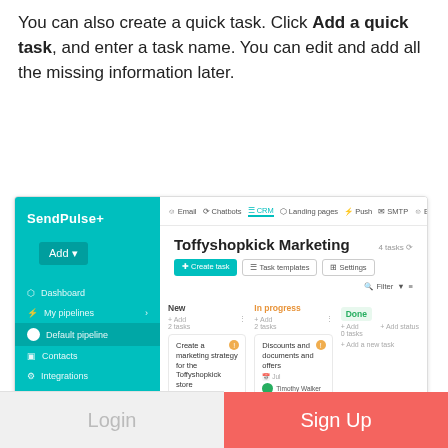You can also create a quick task. Click Add a quick task, and enter a task name. You can edit and add all the missing information later.
[Figure (screenshot): Screenshot of SendPulse CRM task management interface showing Toffyshopkick Marketing board with Kanban columns: New, In progress, Done, with several task cards and task management controls.]
Login
Sign Up